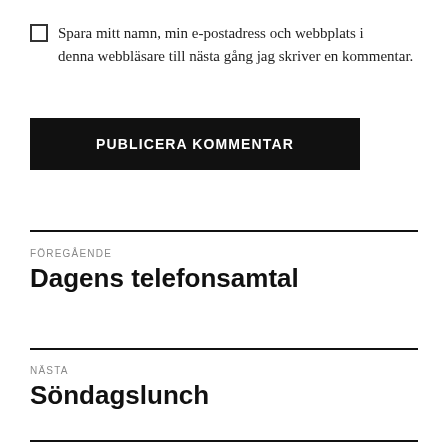Spara mitt namn, min e-postadress och webbplats i denna webbläsare till nästa gång jag skriver en kommentar.
PUBLICERA KOMMENTAR
FÖREGÅENDE
Dagens telefonsamtal
NÄSTA
Söndagslunch